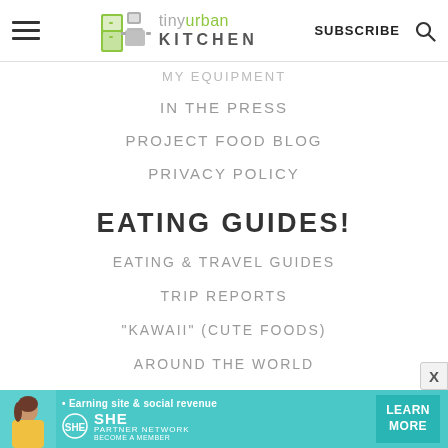tiny urban KITCHEN — SUBSCRIBE
MY EQUIPMENT
IN THE PRESS
PROJECT FOOD BLOG
PRIVACY POLICY
EATING GUIDES!
EATING & TRAVEL GUIDES
TRIP REPORTS
"KAWAII" (CUTE FOODS)
AROUND THE WORLD
[Figure (screenshot): SHE Media Partner Network advertisement banner with a woman, text 'Earning site & social revenue', SHE logo, 'PARTNER NETWORK BECOME A MEMBER', and a 'LEARN MORE' button]